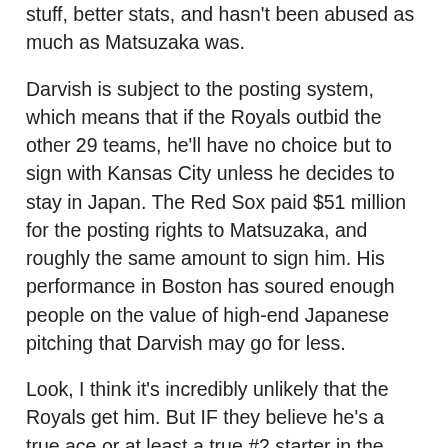stuff, better stats, and hasn't been abused as much as Matsuzaka was.
Darvish is subject to the posting system, which means that if the Royals outbid the other 29 teams, he'll have no choice but to sign with Kansas City unless he decides to stay in Japan. The Red Sox paid $51 million for the posting rights to Matsuzaka, and roughly the same amount to sign him. His performance in Boston has soured enough people on the value of high-end Japanese pitching that Darvish may go for less.
Look, I think it's incredibly unlikely that the Royals get him. But IF they believe he's a true ace or at least a true #2 starter in the majors, and IF they think he'll stay healthy, I think they should make a good-faith effort to get him. Offer up to $40 million for the posting fee, offer about the same for a six-year deal, and hold your breath that even if he breaks down by the end of the contract, he'll give you enough value up front to make it worth your while.
Now that I'm done chasing rainbows across the Pacific, let's